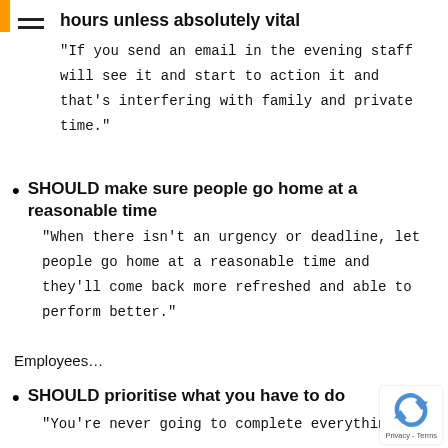hours unless absolutely vital
“If you send an email in the evening staff will see it and start to action it and that’s interfering with family and private time.”
SHOULD make sure people go home at a reasonable time
“When there isn’t an urgency or deadline, let people go home at a reasonable time and they’ll come back more refreshed and able to perform better.”
Employees…
SHOULD prioritise what you have to do
“You’re never going to complete everything